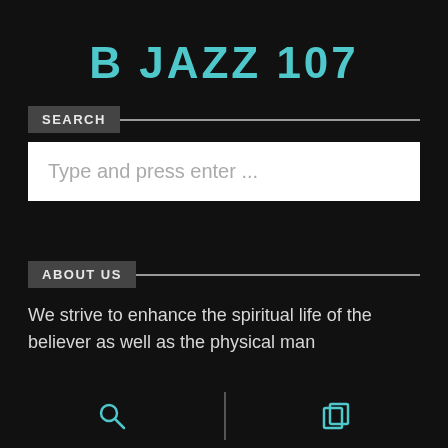B JAZZ 107
SEARCH
Type and press enter ...
ABOUT US
We strive to enhance the spiritual life of the believer as well as the physical man
[Figure (screenshot): Bottom navigation bar with search icon and copy/pages icon separated by a vertical divider line]